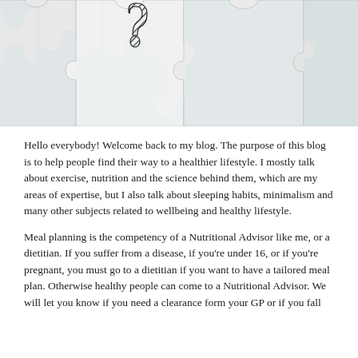[Figure (photo): Photograph of white puzzle pieces on a teal/cyan blue background, with a question mark drawn in black diagonal hatching on the center puzzle piece.]
Hello everybody! Welcome back to my blog. The purpose of this blog is to help people find their way to a healthier lifestyle. I mostly talk about exercise, nutrition and the science behind them, which are my areas of expertise, but I also talk about sleeping habits, minimalism and many other subjects related to wellbeing and healthy lifestyle.
Meal planning is the competency of a Nutritional Advisor like me, or a dietitian. If you suffer from a disease, if you're under 16, or if you're pregnant, you must go to a dietitian if you want to have a tailored meal plan. Otherwise healthy people can come to a Nutritional Advisor. We will let you know if you need a clearance form your GP or if you fall